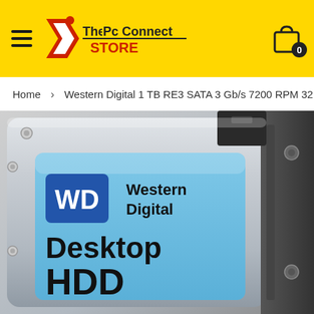The PC Connect STORE — navigation header with hamburger menu and shopping cart (0 items)
Home > Western Digital 1 TB RE3 SATA 3 Gb/s 7200 RPM 32
[Figure (photo): Close-up photo of a Western Digital Desktop HDD hard drive. The drive has a silver metallic casing with blue label showing WD logo (blue square with 'WD' in white) and text 'Western Digital' and 'Desktop HDD' in large black text. A black mounting bracket is visible on the right side.]